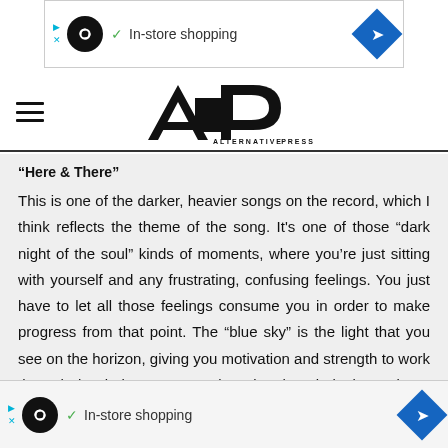[Figure (other): Top advertisement banner showing a loop/infinity icon in a black circle, a checkmark, 'In-store shopping' text, and a blue diamond navigation icon]
[Figure (logo): Alternative Press (AP) logo in bold black stylized lettering with 'ALTERNATIVE PRESS' text below]
“Here & There”
This is one of the darker, heavier songs on the record, which I think reflects the theme of the song. It’s one of those “dark night of the soul” kinds of moments, where you’re just sitting with yourself and any frustrating, confusing feelings. You just have to let all those feelings consume you in order to make progress from that point. The “blue sky” is the light that you see on the horizon, giving you motivation and strength to work through the darker moments, knowing that clarity is coming. I think it’ e darkne ’s within
[Figure (other): Bottom advertisement banner showing a loop/infinity icon in a black circle, a checkmark, 'In-store shopping' text, and a blue diamond navigation icon]